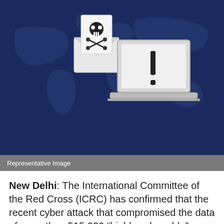[Figure (illustration): Dark navy blue background with world map silhouette in lighter blue. In the foreground: an open envelope with a skull-and-crossbones letter icon, and a laptop computer displaying a large exclamation mark warning sign.]
Representative Image
New Delhi: The International Committee of the Red Cross (ICRC) has confirmed that the recent cyber attack that compromised the data of more than 515,000 “highly vulnerable” people, was likely the work of state-sponsored hackers.